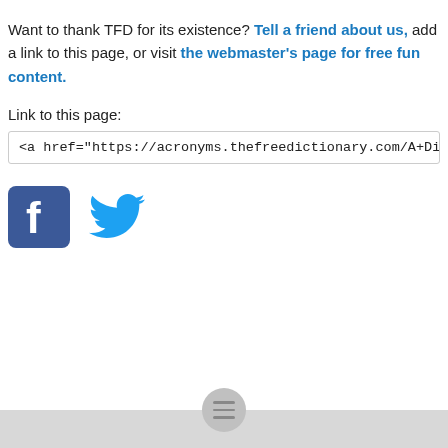Want to thank TFD for its existence? Tell a friend about us, add a link to this page, or visit the webmaster's page for free fun content.
Link to this page:
<a href="https://acronyms.thefreedictionary.com/A+Diversified+Family">A
[Figure (logo): Facebook logo icon (blue square with white f) and Twitter bird logo icon (blue bird)]